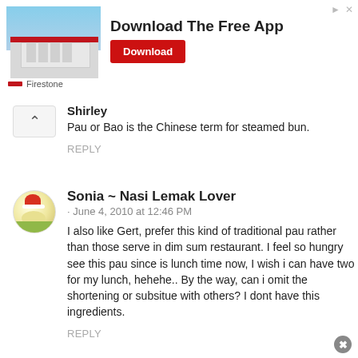[Figure (infographic): Firestone advertisement banner with a store building photo, 'Download The Free App' text and a red Download button, Firestone logo at bottom left, close and arrow icons at top right.]
Shirley
Pau or Bao is the Chinese term for steamed bun.
REPLY
Sonia ~ Nasi Lemak Lover
· June 4, 2010 at 12:46 PM
I also like Gert, prefer this kind of traditional pau rather than those serve in dim sum restaurant. I feel so hungry see this pau since is lunch time now, I wish i can have two for my lunch, hehehe.. By the way, can i omit the shortening or subsitue with others? I dont have this ingredients.
REPLY